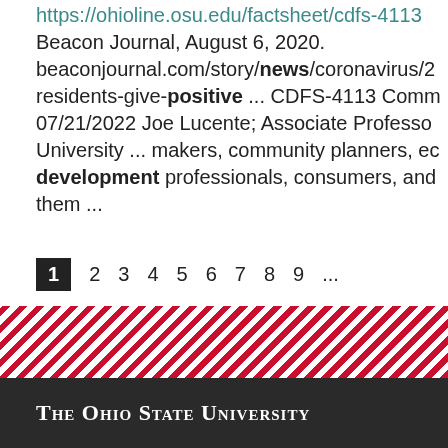https://ohioline.osu.edu/factsheet/cdfs-4113 Beacon Journal, August 6, 2020. beaconjournal.com/story/news/coronavirus/2... residents-give-positive ... CDFS-4113 Comm... 07/21/2022 Joe Lucente; Associate Professor... University ... makers, community planners, ec... development professionals, consumers, and... them ...
1 2 3 4 5 6 7 8 9 ...
[Figure (illustration): Diagonal red and white striped banner pattern used as a decorative divider, typical of Ohio State University branding.]
The Ohio State University